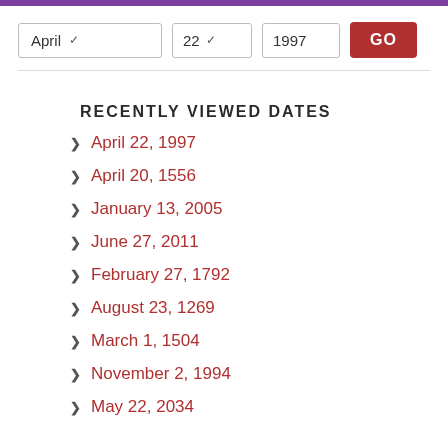RECENTLY VIEWED DATES
April 22, 1997
April 20, 1556
January 13, 2005
June 27, 2011
February 27, 1792
August 23, 1269
March 1, 1504
November 2, 1994
May 22, 2034